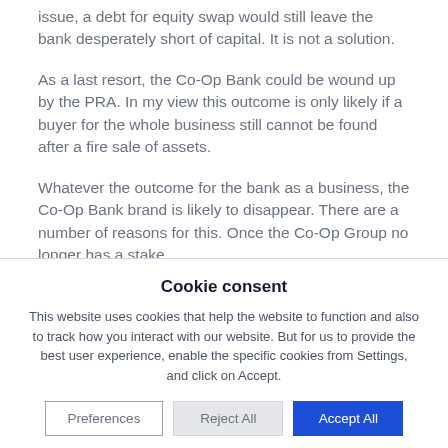issue, a debt for equity swap would still leave the bank desperately short of capital. It is not a solution.
As a last resort, the Co-Op Bank could be wound up by the PRA. In my view this outcome is only likely if a buyer for the whole business still cannot be found after a fire sale of assets.
Whatever the outcome for the bank as a business, the Co-Op Bank brand is likely to disappear. There are a number of reasons for this. Once the Co-Op Group no longer has a stake,
Cookie consent
This website uses cookies that help the website to function and also to track how you interact with our website. But for us to provide the best user experience, enable the specific cookies from Settings, and click on Accept.